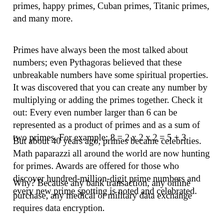primes, happy primes, Cuban primes, Titanic primes, and many more.
Primes have always been the most talked about numbers; even Pythagoras believed that these unbreakable numbers have some spiritual properties. It was discovered that you can create any number by multiplying or adding the primes together. Check it out: Every even number larger than 6 can be represented as a product of primes and as a sum of two primes. For example: 8 = 2 x 2 x 2 = 5 + 3
But about 40 years ago, primes became celebrities. Math paparazzi all around the world are now hunting for primes. Awards are offered for those who discover hundred-million-digit prime numbers and every new prime spotting is noted and celebrated.
Why? Because any bank transaction, any online purchase, any medical or military data exchange requires data encryption.
Cryptographers found a great encryption mechanism using the observation that when a number is created as a product of two large primes, guessing or computing those primes…